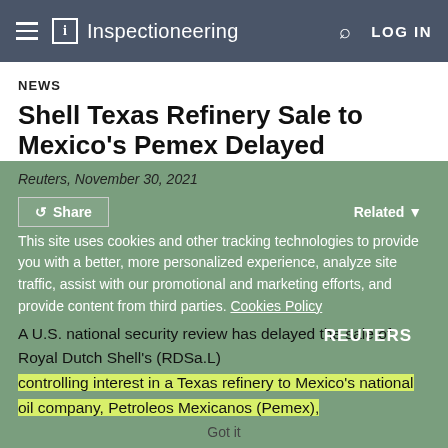Inspectioneering
NEWS
Shell Texas Refinery Sale to Mexico's Pemex Delayed
Reuters, November 30, 2021
This site uses cookies and other tracking technologies to provide you with a better, more personalized experience, analyze site traffic, assist with our promotional and marketing efforts, and provide content from third parties. Cookies Policy
A U.S. national security review has delayed the sale of Royal Dutch Shell's (RDSa.L) controlling interest in a Texas refinery to Mexico's national oil company, Petroleos Mexicanos (Pemex), Shell said on Tuesday.